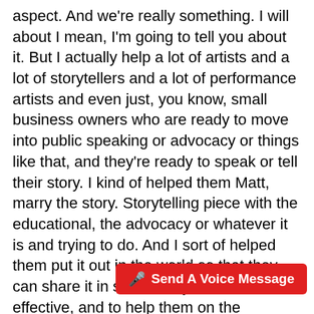aspect. And we're really something. I will about I mean, I'm going to tell you about it. But I actually help a lot of artists and a lot of storytellers and a lot of performance artists and even just, you know, small business owners who are ready to move into public speaking or advocacy or things like that, and they're ready to speak or tell their story. I kind of helped them Matt, marry the story. Storytelling piece with the educational, the advocacy or whatever it is and trying to do. And I sort of helped them put it out in the world so that they can share it in such a way where it's effective, and to help them on the business side as well. Because I think we are moving into that new paradigm, where it's all about stories. And it's not about that old dry nonsense that people want something new and different. Because attention spans are different to them. You've got YouTube, you've got vines, you've got things, five people figure out whether or not you're going to be
[Figure (other): Red 'Send A Voice Message' button with microphone icon]